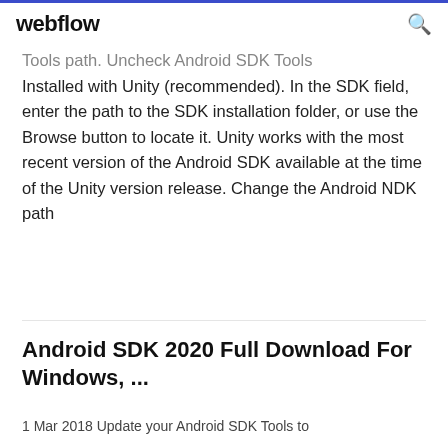webflow
Tools path. Uncheck Android SDK Tools Installed with Unity (recommended). In the SDK field, enter the path to the SDK installation folder, or use the Browse button to locate it. Unity works with the most recent version of the Android SDK available at the time of the Unity version release. Change the Android NDK path
Android SDK 2020 Full Download For Windows, ...
1 Mar 2018 Update your Android SDK Tools to